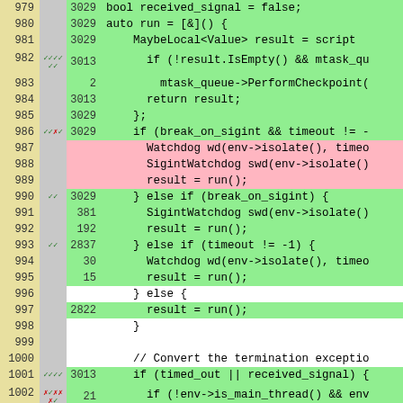[Figure (screenshot): Code coverage diff view showing C++ source lines 979-1002 with line numbers, coverage markers (checkmarks/crosses), hit counts, and color-coded backgrounds (green for covered, pink for uncovered, white/gray for excluded). Code includes watchdog timer logic and signal handling.]